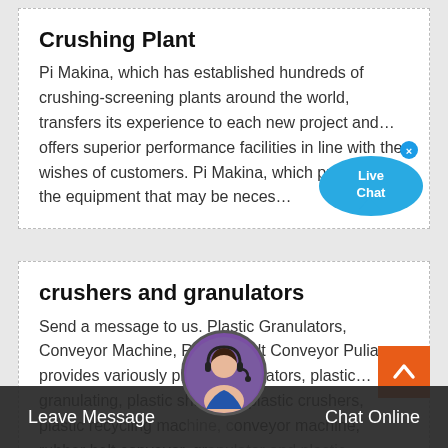Crushing Plant
Pi Makina, which has established hundreds of crushing-screening plants around the world, transfers its experience to each new project and… offers superior performance facilities in line with the wishes of customers. Pi Makina, which produces all the equipment that may be neces…
crushers and granulators
Send a message to us. Plastic Granulators, Conveyor Machine, Rubber Belt Conveyor Pulian provides variously plastic granulators, plastic… granulating, plastic shredder, plastic crushers, plastic recycling machine, conveyor machine, rubber belt conveyor, granulator and plastic…